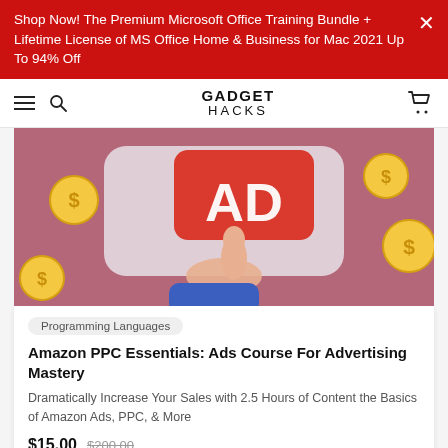Shop Now! The Premium Microsoft Office Training Bundle + Lifetime License of MS Office Home & Business for Mac 2021 Up To 94% Off
GADGET HACKS
[Figure (illustration): 3D illustration of a hand pointing at a red AD button with gold dollar coins floating around, on a mauve/purple background]
Programming Languages
Amazon PPC Essentials: Ads Course For Advertising Mastery
Dramatically Increase Your Sales with 2.5 Hours of Content the Basics of Amazon Ads, PPC, & More
$15.00  $200.00